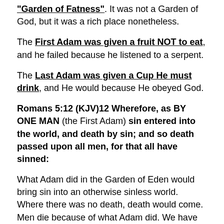"Garden of Fatness". It was not a Garden of God, but it was a rich place nonetheless.
The First Adam was given a fruit NOT to eat, and he failed because he listened to a serpent.
The Last Adam was given a Cup He must drink, and He would because He obeyed God.
Romans 5:12 (KJV)12 Wherefore, as BY ONE MAN (the First Adam) sin entered into the world, and death by sin; and so death passed upon all men, for that all have sinned:
What Adam did in the Garden of Eden would bring sin into an otherwise sinless world. Where there was no death, death would come. Men die because of what Adam did. We have cancer, Parkinson's, Alzheimer's, all types of